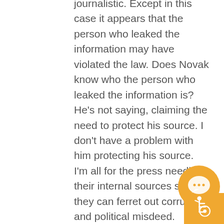journalistic. Except in this case it appears that the person who leaked the information may have violated the law. Does Novak know who the person who leaked the information is? He's not saying, claiming the need to protect his source. I don't have a problem with him protecting his source. I'm all for the press needing their internal sources so that they can ferret out corruption and political misdeed.

But this isn't Watergate, and the press isn't ferreting out political misdeed; it is – from what I can tell– willingly participating in pure political retribution. And, if that's the case (and I'm not saying it is because I
[Figure (illustration): Orange chat bubble icon and wheelchair accessibility icon on orange background in bottom-right corner]